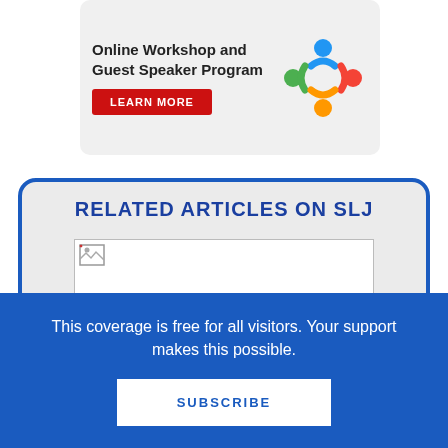[Figure (other): Advertisement banner for Online Workshop and Guest Speaker Program with a Learn More button and a colorful people-circle logo]
RELATED ARTICLES ON SLJ
[Figure (other): Broken image placeholder (white rectangle with broken image icon)]
This coverage is free for all visitors. Your support makes this possible.
SUBSCRIBE